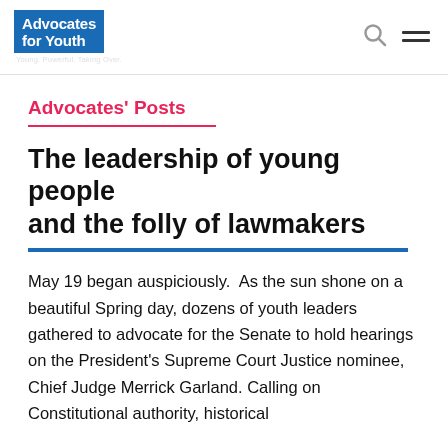Advocates for Youth — Young. Powerful. Taking Over.
Advocates' Posts
The leadership of young people and the folly of lawmakers
May 19 began auspiciously. As the sun shone on a beautiful Spring day, dozens of youth leaders gathered to advocate for the Senate to hold hearings on the President's Supreme Court Justice nominee, Chief Judge Merrick Garland. Calling on Constitutional authority, historical